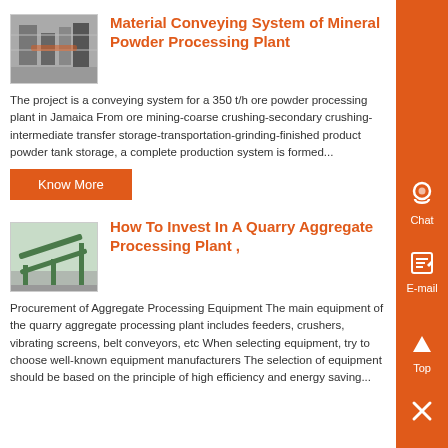[Figure (photo): Thumbnail photo of machinery/conveying equipment inside a plant]
Material Conveying System of Mineral Powder Processing Plant
The project is a conveying system for a 350 t/h ore powder processing plant in Jamaica From ore mining-coarse crushing-secondary crushing-intermediate transfer storage-transportation-grinding-finished product powder tank storage, a complete production system is formed...
Know More
[Figure (photo): Thumbnail photo of quarry aggregate processing plant with green conveyor structure]
How To Invest In A Quarry Aggregate Processing Plant ,
Procurement of Aggregate Processing Equipment The main equipment of the quarry aggregate processing plant includes feeders, crushers, vibrating screens, belt conveyors, etc When selecting equipment, try to choose well-known equipment manufacturers The selection of equipment should be based on the principle of high efficiency and energy saving...